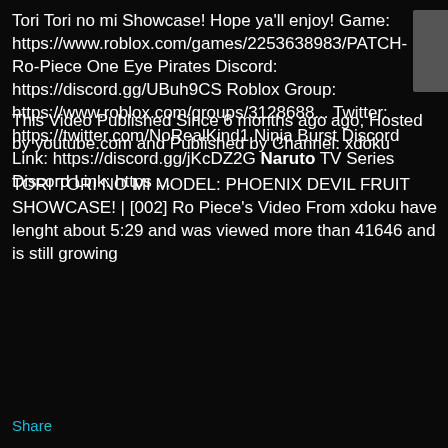Tori Tori no mi Showcase! Hope ya'll enjoy! Game: https://www.roblox.com/games/2253638983/PATCH-Ro-Piece One Eye Pirates Discord: https://discord.gg/UBuh9CS Roblox Group: https://www.roblox.com/groups/3128688... Twitter: https://twitter.com/NoRealKind1 Ninja Burst Discord Link: https://discord.gg/jKcDZ2G Naruto TV Series Discord Link: https ...
[Figure (photo): Small thumbnail image, dark gray background with a faint circular icon]
This Video Published Since 6 months ago ago, Hosted by youtube.com and Published by Channel: xdoku
TORI TORI NO MI MODEL: PHOENIX DEVIL FRUIT SHOWCASE! | [002] Ro Piece's Video From xdoku have lenght about 5:29 and was viewed more than 41646 and is still growing
Share